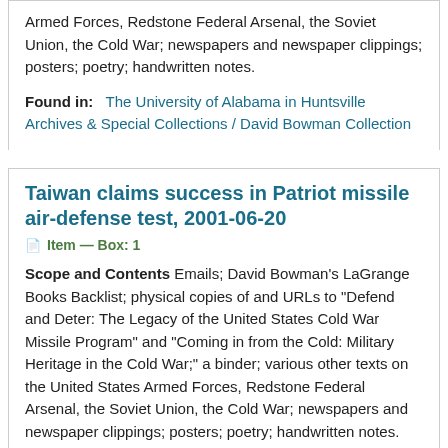Armed Forces, Redstone Federal Arsenal, the Soviet Union, the Cold War; newspapers and newspaper clippings; posters; poetry; handwritten notes.
Found in: The University of Alabama in Huntsville Archives & Special Collections / David Bowman Collection
Taiwan claims success in Patriot missile air-defense test, 2001-06-20
Item — Box: 1
Scope and Contents Emails; David Bowman's LaGrange Books Backlist; physical copies of and URLs to "Defend and Deter: The Legacy of the United States Cold War Missile Program" and "Coming in from the Cold: Military Heritage in the Cold War;" a binder; various other texts on the United States Armed Forces, Redstone Federal Arsenal, the Soviet Union, the Cold War; newspapers and newspaper clippings; posters; poetry; handwritten notes.
Found in: The University of Alabama in Huntsville